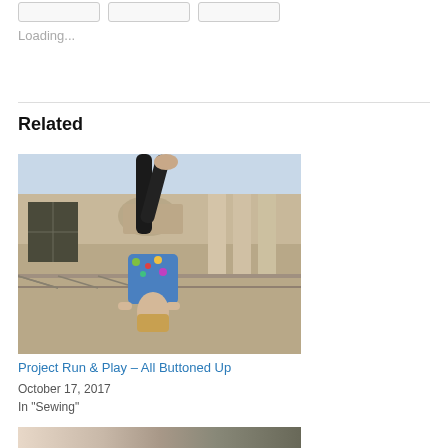Loading...
Related
[Figure (photo): Person doing a handstand outdoors in front of a classical stone building with columns and sculptural relief. The person wears black leggings and a colorful blue floral top, performing an acrobatic handstand pose.]
Project Run & Play – All Buttoned Up
October 17, 2017
In "Sewing"
[Figure (photo): Partial view of another related article thumbnail photo.]